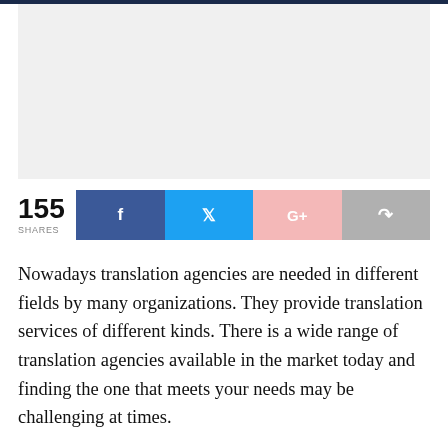[Figure (other): Light gray image placeholder area at top of page]
155 SHARES
Nowadays translation agencies are needed in different fields by many organizations. They provide translation services of different kinds. There is a wide range of translation agencies available in the market today and finding the one that meets your needs may be challenging at times.